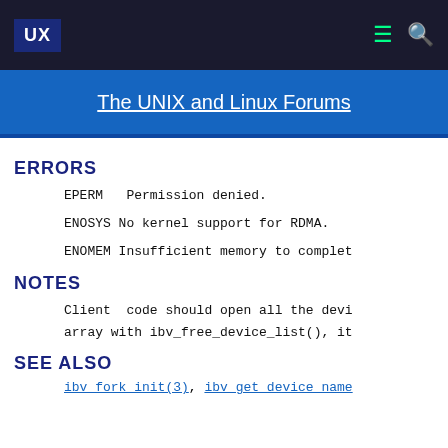UX | The UNIX and Linux Forums
The UNIX and Linux Forums
ERRORS
EPERM   Permission denied.
ENOSYS No kernel support for RDMA.
ENOMEM Insufficient memory to complet
NOTES
Client  code should open all the devi array with ibv_free_device_list(), it
SEE ALSO
ibv_fork_init(3), ibv_get_device_name